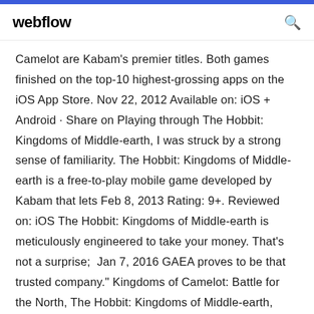webflow
Camelot are Kabam's premier titles. Both games finished on the top-10 highest-grossing apps on the iOS App Store. Nov 22, 2012 Available on: iOS + Android · Share on Playing through The Hobbit: Kingdoms of Middle-earth, I was struck by a strong sense of familiarity. The Hobbit: Kingdoms of Middle-earth is a free-to-play mobile game developed by Kabam that lets Feb 8, 2013 Rating: 9+. Reviewed on: iOS The Hobbit: Kingdoms of Middle-earth is meticulously engineered to take your money. That's not a surprise;  Jan 7, 2016 GAEA proves to be that trusted company." Kingdoms of Camelot: Battle for the North, The Hobbit: Kingdoms of Middle-earth, Dragons of Atlantis: